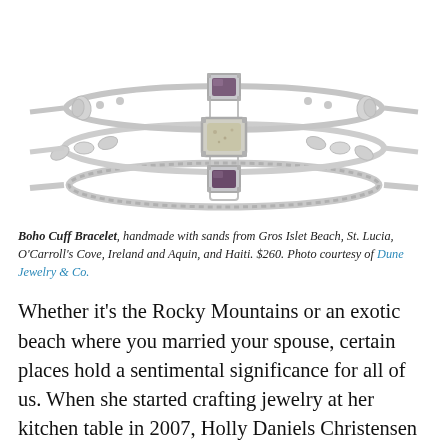[Figure (photo): Close-up photo of a Boho Cuff Bracelet – a silver stacked bracelet with three bands, featuring small gemstone settings: a dark purple/amethyst stone on top, a sandy/beige square stone in the middle, and a dark purple stone on the bottom. The bracelet has decorative textures including beaded and twisted rope bands, photographed on a white background.]
Boho Cuff Bracelet, handmade with sands from Gros Islet Beach, St. Lucia, O'Carroll's Cove, Ireland and Aquin, and Haiti. $260. Photo courtesy of Dune Jewelry & Co.
Whether it's the Rocky Mountains or an exotic beach where you married your spouse, certain places hold a sentimental significance for all of us. When she started crafting jewelry at her kitchen table in 2007, Holly Daniels Christensen recognized this heartfelt draw to memories and started incorporating sand from her hometown beaches in Cape Cod,